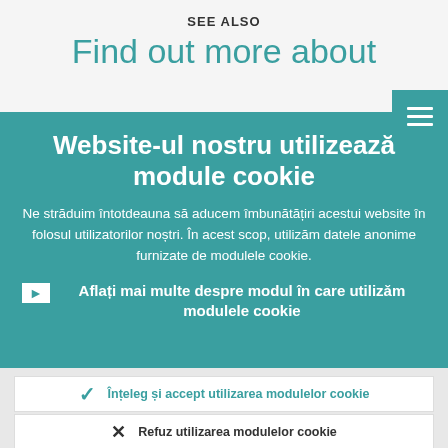SEE ALSO
Find out more about
Website-ul nostru utilizează module cookie
Ne străduim întotdeauna să aducem îmbunătățiri acestui website în folosul utilizatorilor noștri. În acest scop, utilizăm datele anonime furnizate de modulele cookie.
Aflați mai multe despre modul în care utilizăm modulele cookie
Înțeleg și accept utilizarea modulelor cookie
Refuz utilizarea modulelor cookie